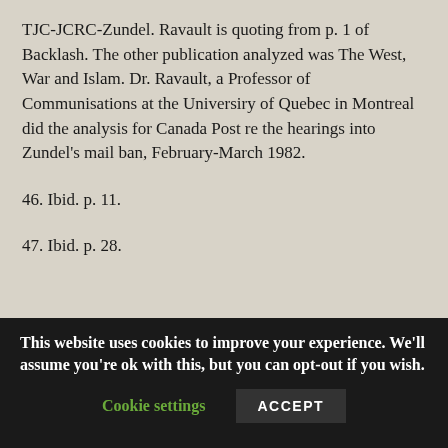TJC-JCRC-Zundel. Ravault is quoting from p. 1 of Backlash. The other publication analyzed was The West, War and Islam. Dr. Ravault, a Professor of Communisations at the Universiry of Quebec in Montreal did the analysis for Canada Post re the hearings into Zundel's mail ban, February-March 1982.
46. Ibid. p. 11.
47. Ibid. p. 28.
This website uses cookies to improve your experience. We'll assume you're ok with this, but you can opt-out if you wish. Cookie settings ACCEPT